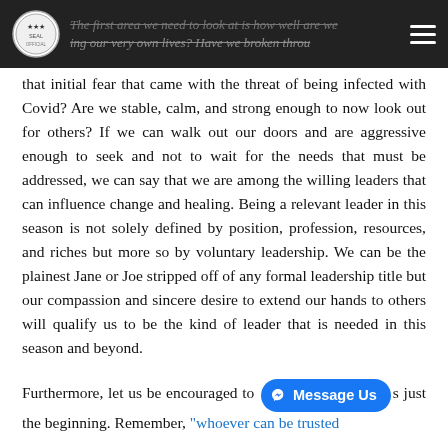The first area we need to look at is how well are we living our very own lives? Have we broken through
that initial fear that came with the threat of being infected with Covid? Are we stable, calm, and strong enough to now look out for others? If we can walk out our doors and are aggressive enough to seek and not to wait for the needs that must be addressed, we can say that we are among the willing leaders that can influence change and healing. Being a relevant leader in this season is not solely defined by position, profession, resources, and riches but more so by voluntary leadership. We can be the plainest Jane or Joe stripped off of any formal leadership title but our compassion and sincere desire to extend our hands to others will qualify us to be the kind of leader that is needed in this season and beyond.
Furthermore, let us be encouraged to [Message Us] is just the beginning. Remember, “whoever can be trusted